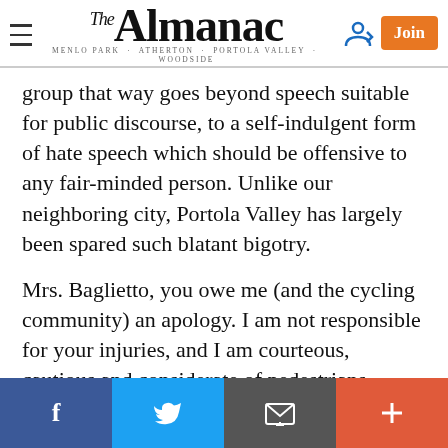The Almanac — MENLO PARK · ATHERTON · PORTOLA VALLEY · WOODSIDE
group that way goes beyond speech suitable for public discourse, to a self-indulgent form of hate speech which should be offensive to any fair-minded person. Unlike our neighboring city, Portola Valley has largely been spared such blatant bigotry.
Mrs. Baglietto, you owe me (and the cycling community) an apology. I am not responsible for your injuries, and I am courteous, cautious and considerate of pedestrians, equestrians, motorists and fellow cyclists. My water bottle is for drinking, and I almost never ride in a group.
I have had a number of negative experiences with vehicles while cycling. I've been hit, I've been cut off
Facebook | Twitter | Email | Plus